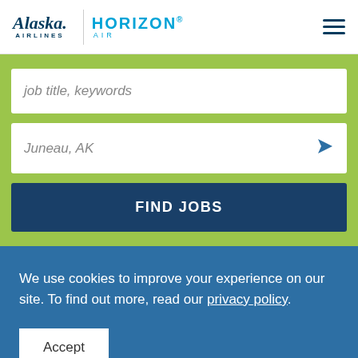[Figure (logo): Alaska Airlines and Horizon Air logos side by side with hamburger menu icon]
job title, keywords
Juneau, AK
FIND JOBS
We use cookies to improve your experience on our site. To find out more, read our privacy policy.
Accept